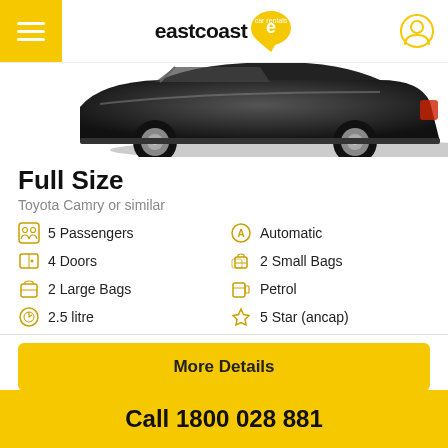eastcoast car rentals
[Figure (photo): Partial rear view of a dark colored sedan car on a white background]
Full Size
Toyota Camry or similar
5 Passengers
4 Doors
2 Large Bags
2.5 litre
Automatic
2 Small Bags
Petrol
5 Star (ancap)
More Details
Call 1800 028 881